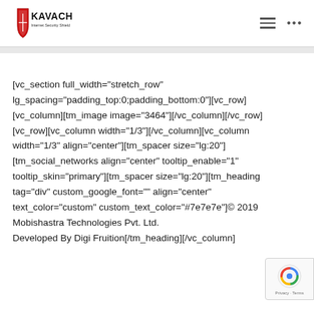KAVACH Internet Security Shield
[vc_section full_width="stretch_row" lg_spacing="padding_top:0;padding_bottom:0"][vc_row][vc_column][tm_image image="3464"][/vc_column][/vc_row][vc_row][vc_column width="1/3"][/vc_column][vc_column width="1/3" align="center"][tm_spacer size="lg:20"][tm_social_networks align="center" tooltip_enable="1" tooltip_skin="primary"][tm_spacer size="lg:20"][tm_heading tag="div" custom_google_font="" align="center" text_color="custom" custom_text_color="#7e7e7e"]© 2019 Mobishastra Technologies Pvt. Ltd. Developed By Digi Fruition[/tm_heading][/vc_column]